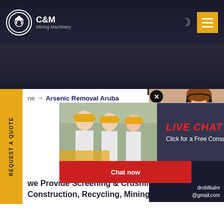[Figure (screenshot): C&M Mining Machinery website header with dark navy background, company logo (eagle in gear circle), moon icon, and yellow menu button]
[Figure (screenshot): Live Chat popup overlay showing workers in hard hats on left, LIVE CHAT text in red on dark background, Chat now (red) and Chat later (dark) buttons]
[Figure (photo): Customer service representative woman with headset, smiling, on right panel]
ne → Arsenic Removal Aruba
CRUSHING | SCREENING | WASHING
we Provide Screening & Crushing Equipment To Serve The Quarry, Construction, Recycling, Mining, And Sand
ave any requests, ick here.
Quotation
Enquiry
drobilkalm@gmail.com
REQUEST A QUOTE